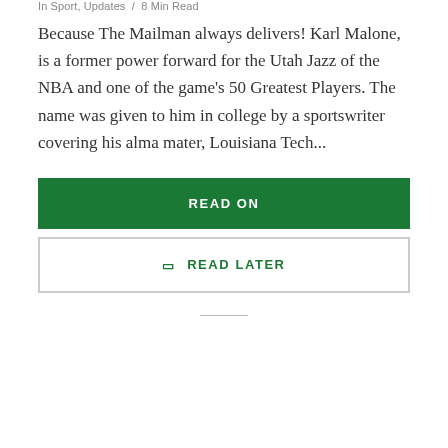In Sport, Updates  /  8 Min Read
Because The Mailman always delivers! Karl Malone, is a former power forward for the Utah Jazz of the NBA and one of the game's 50 Greatest Players. The name was given to him in college by a sportswriter covering his alma mater, Louisiana Tech...
READ ON
READ LATER